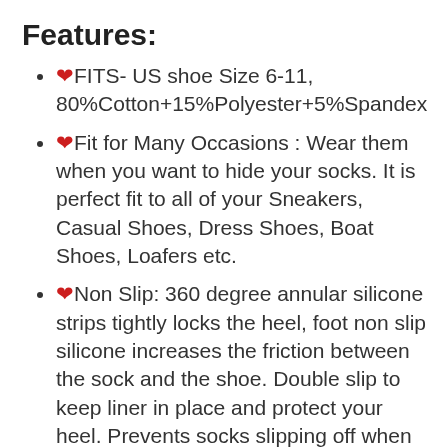Features:
❤FITS- US shoe Size 6-11, 80%Cotton+15%Polyester+5%Spandex
❤Fit for Many Occasions : Wear them when you want to hide your socks. It is perfect fit to all of your Sneakers, Casual Shoes, Dress Shoes, Boat Shoes, Loafers etc.
❤Non Slip: 360 degree annular silicone strips tightly locks the heel, foot non slip silicone increases the friction between the sock and the shoe. Double slip to keep liner in place and protect your heel. Prevents socks slipping off when walking, standing etc.